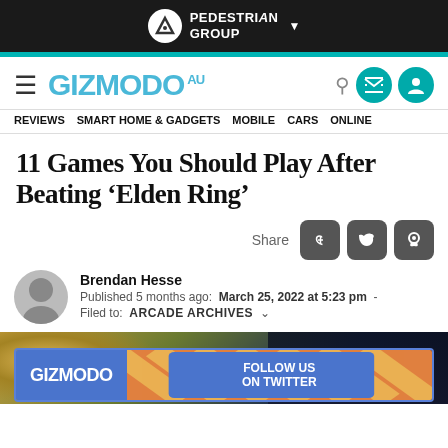PEDESTRIAN GROUP
GIZMODO AU | REVIEWS | SMART HOME & GADGETS | MOBILE | CARS | ONLINE
11 Games You Should Play After Beating ‘Elden Ring’
Share
Brendan Hesse
Published 5 months ago: March 25, 2022 at 5:23 pm
Filed to: ARCADE ARCHIVES
[Figure (screenshot): Hero image showing fantasy game scene with golden light and dark armored figure, with a Gizmodo Twitter follow advertisement banner overlaid at bottom]